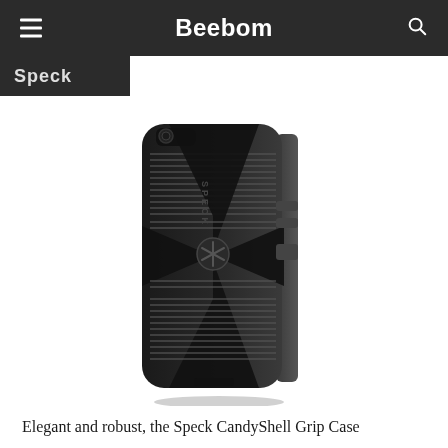Beebom
[Figure (photo): Black Speck CandyShell Grip Case for iPhone shown from the back at a slight angle, featuring horizontal grip ridges and an X-pattern on the back surface.]
Elegant and robust, the Speck CandyShell Grip Case